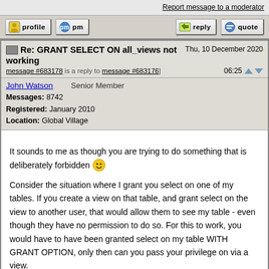Report message to a moderator
profile   pm   reply   quote
Re: GRANT SELECT ON all_views not working [message #683178 is a reply to message #683176]  Thu, 10 December 2020  06:25
John Watson   Senior Member
Messages: 8742
Registered: January 2010
Location: Global Village
It sounds to me as though you are trying to do something that is deliberately forbidden :)

Consider the situation where I grant you select on one of my tables. If you create a view on that table, and grant select on the view to another user, that would allow them to see my table - even though they have no permission to do so. For this to work, you would have to have been granted select on my table WITH GRANT OPTION, only then can you pass your privilege on via a view.